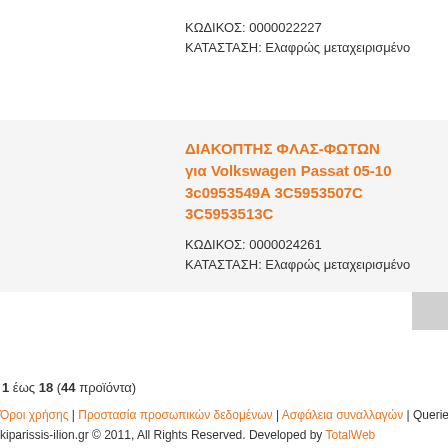ΚΩΔΙΚΟΣ: 0000022227
ΚΑΤΑΣΤΑΣΗ: Ελαφρώς μεταχειρισμένο
ΔΙΑΚΟΠΤΗΣ ΦΛΑΣ-ΦΩΤΩΝ για Volkswagen Passat 05-10 3c0953549A 3C5953507C 3C5953513C
ΚΩΔΙΚΟΣ: 0000024261
ΚΑΤΑΣΤΑΣΗ: Ελαφρώς μεταχειρισμένο
1 έως 18 (44 προϊόντα)
Όροι χρήσης | Προστασία προσωπικών δεδομένων | Ασφάλεια συναλλαγών | Queries
kiparissis-ilion.gr © 2011, All Rights Reserved. Developed by TotalWeb